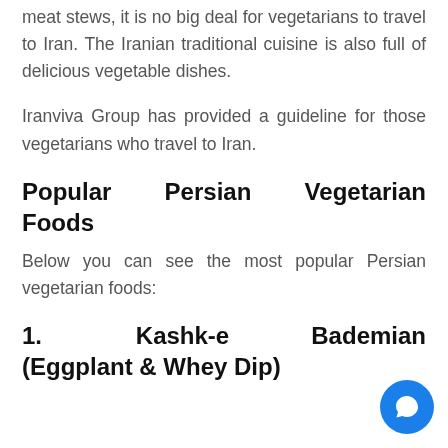meat stews, it is no big deal for vegetarians to travel to Iran. The Iranian traditional cuisine is also full of delicious vegetable dishes.
Iranviva Group has provided a guideline for those vegetarians who travel to Iran.
Popular Persian Vegetarian Foods
Below you can see the most popular Persian vegetarian foods:
1. Kashk-e Bademian (Eggplant & Whey Dip)